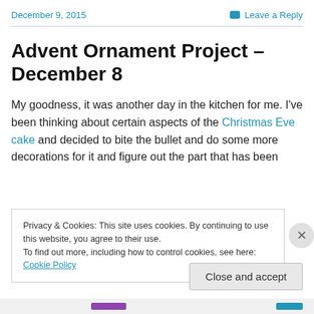December 9, 2015
Leave a Reply
Advent Ornament Project – December 8
My goodness, it was another day in the kitchen for me. I've been thinking about certain aspects of the Christmas Eve cake and decided to bite the bullet and do some more decorations for it and figure out the part that has been
Privacy & Cookies: This site uses cookies. By continuing to use this website, you agree to their use.
To find out more, including how to control cookies, see here: Cookie Policy
Close and accept